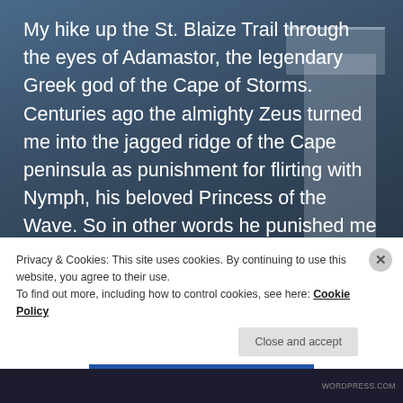My hike up the St. Blaize Trail through the eyes of Adamastor, the legendary Greek god of the Cape of Storms.  Centuries ago the almighty Zeus turned me into the jagged ridge of the Cape peninsula as punishment for flirting with Nymph, his beloved Princess of the Wave. So in other words he punished me [...]
READ MORE →
Privacy & Cookies: This site uses cookies. By continuing to use this website, you agree to their use.
To find out more, including how to control cookies, see here: Cookie Policy
Close and accept